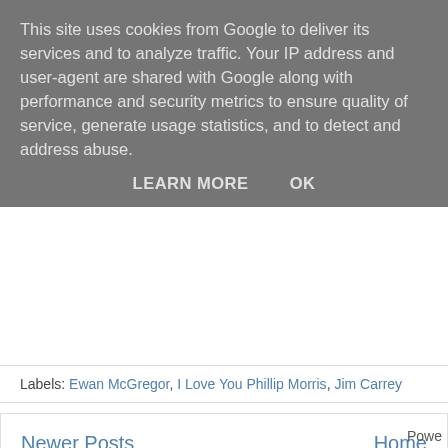This site uses cookies from Google to deliver its services and to analyze traffic. Your IP address and user-agent are shared with Google along with performance and security metrics to ensure quality of service, generate usage statistics, and to detect and address abuse.
LEARN MORE   OK
Labels: Ewan McGregor, I Love You Phillip Morris, Jim Carrey
Newer Posts   Home
Subscribe to: Posts (Atom)
Powe